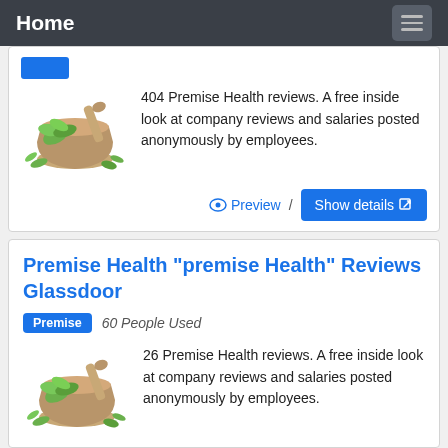Home
[Figure (illustration): Mortar and pestle with green herbs illustration]
404 Premise Health reviews. A free inside look at company reviews and salaries posted anonymously by employees.
Preview / Show details
Premise Health "premise Health" Reviews Glassdoor
Premise  60 People Used
[Figure (illustration): Mortar and pestle with green herbs illustration]
26 Premise Health reviews. A free inside look at company reviews and salaries posted anonymously by employees.